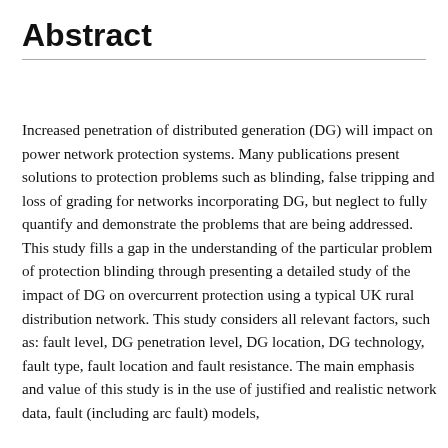Abstract
Increased penetration of distributed generation (DG) will impact on power network protection systems. Many publications present solutions to protection problems such as blinding, false tripping and loss of grading for networks incorporating DG, but neglect to fully quantify and demonstrate the problems that are being addressed. This study fills a gap in the understanding of the particular problem of protection blinding through presenting a detailed study of the impact of DG on overcurrent protection using a typical UK rural distribution network. This study considers all relevant factors, such as: fault level, DG penetration level, DG location, DG technology, fault type, fault location and fault resistance. The main emphasis and value of this study is in the use of justified and realistic network data, fault (including arc fault) models,